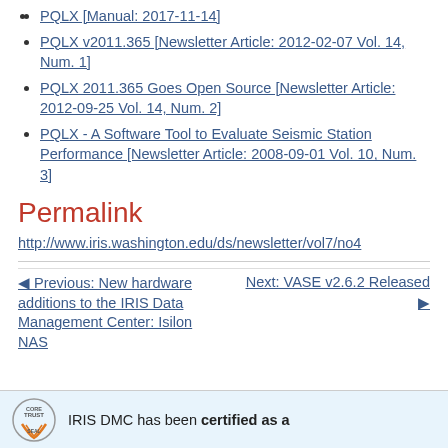PQLX [Manual: 2017-11-14]
PQLX v2011.365 [Newsletter Article: 2012-02-07 Vol. 14, Num. 1]
PQLX 2011.365 Goes Open Source [Newsletter Article: 2012-09-25 Vol. 14, Num. 2]
PQLX - A Software Tool to Evaluate Seismic Station Performance [Newsletter Article: 2008-09-01 Vol. 10, Num. 3]
Permalink
http://www.iris.washington.edu/ds/newsletter/vol7/no4
◀ Previous: New hardware additions to the IRIS Data Management Center: Isilon NAS
Next: VASE v2.6.2 Released ▶
IRIS DMC has been certified as a